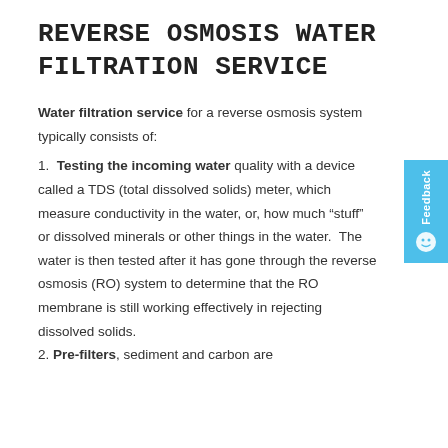REVERSE OSMOSIS WATER FILTRATION SERVICE
Water filtration service for a reverse osmosis system typically consists of:
1.  Testing the incoming water quality with a device called a TDS (total dissolved solids) meter, which measure conductivity in the water, or, how much “stuff” or dissolved minerals or other things in the water.  The water is then tested after it has gone through the reverse osmosis (RO) system to determine that the RO membrane is still working effectively in rejecting dissolved solids.
2. Pre-filters, sediment and carbon are